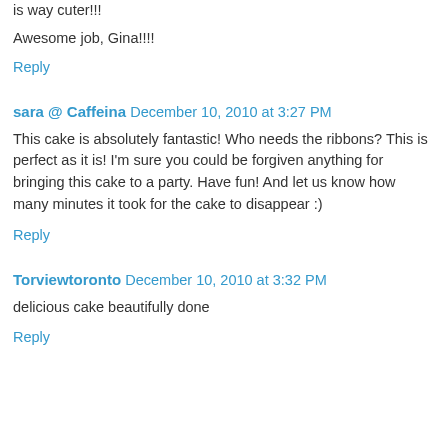is way cuter!!!
Awesome job, Gina!!!!
Reply
sara @ Caffeina  December 10, 2010 at 3:27 PM
This cake is absolutely fantastic! Who needs the ribbons? This is perfect as it is! I'm sure you could be forgiven anything for bringing this cake to a party. Have fun! And let us know how many minutes it took for the cake to disappear :)
Reply
Torviewtoronto  December 10, 2010 at 3:32 PM
delicious cake beautifully done
Reply